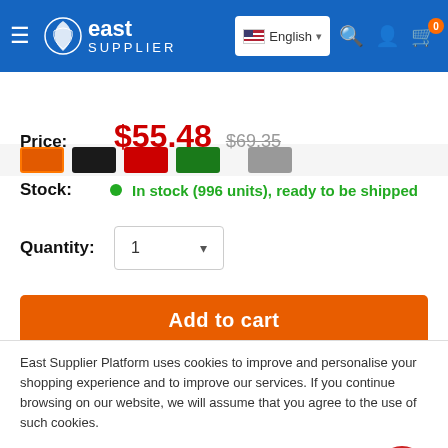[Figure (screenshot): East Supplier website header with logo, language selector (English), search icon, account icon, and cart icon with badge showing 0]
[Figure (other): Row of product color swatches: orange (selected), black, red, green, gray]
Price: $55.48  $69.35
Stock: In stock (996 units), ready to be shipped
Quantity: 1
Add to cart
East Supplier Platform uses cookies to improve and personalise your shopping experience and to improve our services. If you continue browsing on our website, we will assume that you agree to the use of such cookies.
Accept
Share this product